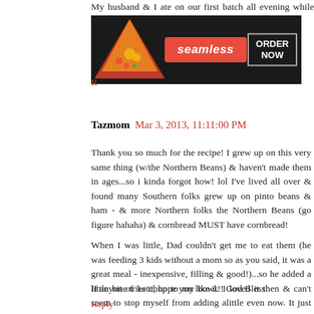My husband & I ate on our first batch all evening while we were b
[Figure (screenshot): Seamless food delivery advertisement banner with pizza image on left, red Seamless logo in center, and ORDER NOW button on right, dark background]
R
Tazmom   Mar 3, 2013, 11:11:00 PM
Thank you so much for the recipe! I grew up on this very same thing (w/the Northern Beans) & haven't made them in ages...so i kinda forgot how! lol I've lived all over & found many Southern folks grew up on pinto beans & ham - & more Northern folks the Northern Beans (go figure hahaha) & cornbread MUST have cornbread!
When I was little, Dad couldn't get me to eat them (he was feeding 3 kids without a mom so as you said, it was a great meal - inexpensive, filling & good!)...so he added a little bit of ketchup to my bowl. I loved it then & can't seem to stop myself from adding alittle even now. It just adds such a great flavor!!
If anyone tries it, hope you like it!! God Bless!
Reply